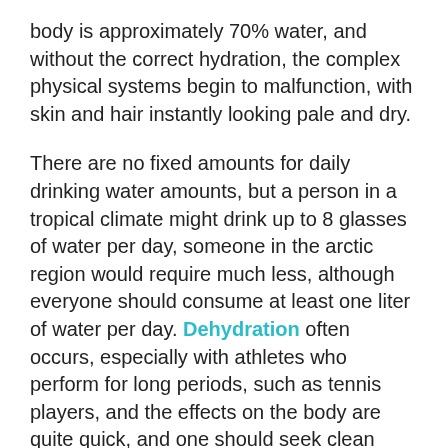body is approximately 70% water, and without the correct hydration, the complex physical systems begin to malfunction, with skin and hair instantly looking pale and dry.
There are no fixed amounts for daily drinking water amounts, but a person in a tropical climate might drink up to 8 glasses of water per day, someone in the arctic region would require much less, although everyone should consume at least one liter of water per day. Dehydration often occurs, especially with athletes who perform for long periods, such as tennis players, and the effects on the body are quite quick, and one should seek clean drinking water, should they feel any of the symptoms of dehydration.